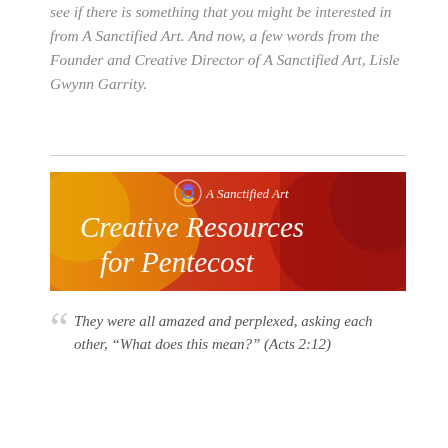see if there is something that you might be interested in from A Sanctified Art. And now, a few words from the Founder and Creative Director of A Sanctified Art, Lisle Gwynn Garrity.
[Figure (illustration): A Sanctified Art banner image with colorful red and orange painterly background, logo with circular icon, text reading 'A Sanctified Art' and large script text 'Creative Resources for Pentecost']
“ They were all amazed and perplexed, asking each other, “What does this mean?” (Acts 2:12)